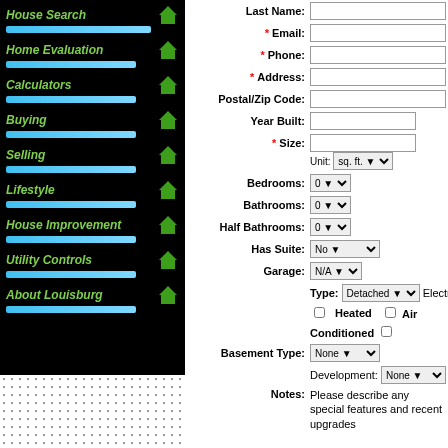[Figure (screenshot): Left navigation panel with dark background showing menu items: House Search, Home Evaluation, Calculators, Buying, Selling, Lifestyle, House Improvement, Utility Controls, About Louisburg. Each item has a green italic label, a blue progress bar, and a green house icon.]
Last Name: [text input] * Email: [text input] * Phone: [text input] * Address: [text input] Postal/Zip Code: [text input] Year Built: [text input] * Size: [text input] Unit: sq. ft. [dropdown] Bedrooms: 0 [dropdown] Bathrooms: 0 [dropdown] Half Bathrooms: 0 [dropdown] Has Suite: No [dropdown] Garage: N/A [dropdown] Type: Detached [dropdown] Electricity [checkbox] Heated [checkbox] Air Conditioned [checkbox] Basement Type: None [dropdown] Development: None [dropdown] Notes: Please describe any special features and recent upgrades